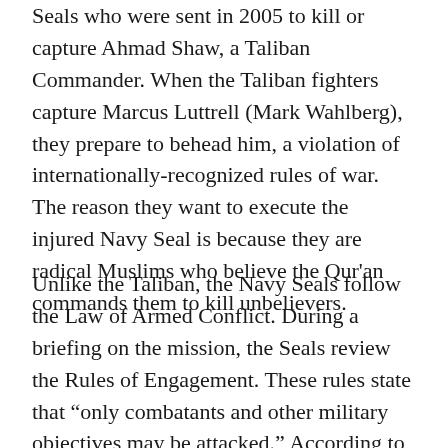Seals who were sent in 2005 to kill or capture Ahmad Shaw, a Taliban Commander. When the Taliban fighters capture Marcus Luttrell (Mark Wahlberg), they prepare to behead him, a violation of internationally-recognized rules of war. The reason they want to execute the injured Navy Seal is because they are radical Muslims who believe the Qur'an commands them to kill unbelievers.
Unlike the Taliban, the Navy Seals follow the Law of Armed Conflict. During a briefing on the mission, the Seals review the Rules of Engagement. These rules state that “only combatants and other military objectives may be attacked.” According to International Humanitarian Law, the first rule of war is that “Attacks must not be directed against